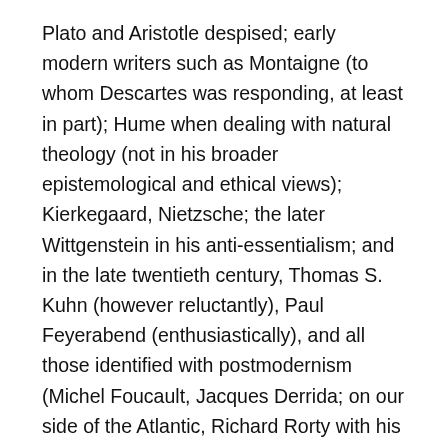Plato and Aristotle despised; early modern writers such as Montaigne (to whom Descartes was responding, at least in part); Hume when dealing with natural theology (not in his broader epistemological and ethical views); Kierkegaard, Nietzsche; the later Wittgenstein in his anti-essentialism; and in the late twentieth century, Thomas S. Kuhn (however reluctantly), Paul Feyerabend (enthusiastically), and all those identified with postmodernism (Michel Foucault, Jacques Derrida; on our side of the Atlantic, Richard Rorty with his “neopragmatism”).
(2) The second answer: philosophy is analysis, not synthesis. The absence of agreement on whose philosophical system is the most defensible is a problem, as we mentioned. So philosophers turned in large numbers to efforts to clarify their own problems or questions. How can we expect to make progress if we’re